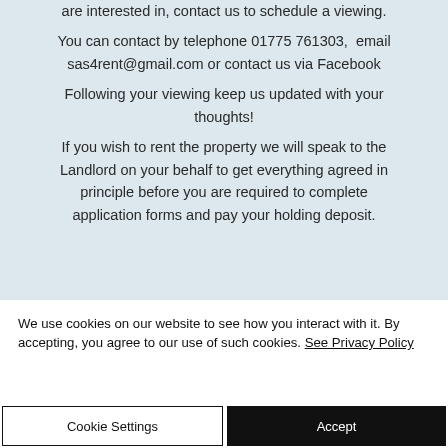are interested in, contact us to schedule a viewing.
You can contact by telephone 01775 761303,  email sas4rent@gmail.com or contact us via Facebook
Following your viewing keep us updated with your thoughts!
If you wish to rent the property we will speak to the Landlord on your behalf to get everything agreed in principle before you are required to complete application forms and pay your holding deposit.
We use cookies on our website to see how you interact with it. By accepting, you agree to our use of such cookies. See Privacy Policy
Cookie Settings
Accept